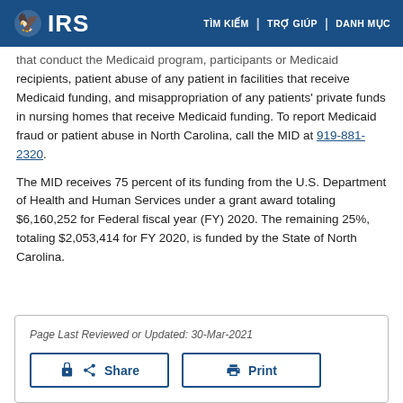IRS | TÌM KIẾM | TRỢ GIÚP | DANH MỤC
that conduct the Medicaid program, participants or Medicaid recipients, patient abuse of any patient in facilities that receive Medicaid funding, and misappropriation of any patients' private funds in nursing homes that receive Medicaid funding. To report Medicaid fraud or patient abuse in North Carolina, call the MID at 919-881-2320.
The MID receives 75 percent of its funding from the U.S. Department of Health and Human Services under a grant award totaling $6,160,252 for Federal fiscal year (FY) 2020. The remaining 25%, totaling $2,053,414 for FY 2020, is funded by the State of North Carolina.
Page Last Reviewed or Updated: 30-Mar-2021